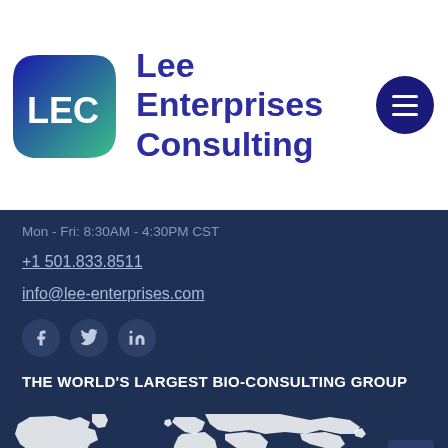[Figure (logo): Lee Enterprises Consulting logo with LEC badge and company name, plus hamburger menu button]
Mon - Fri: 8:30AM - 4:30PM CST
+1 501.833.8511
info@lee-enterprises.com
[Figure (infographic): Social media icons: Facebook, Twitter, LinkedIn]
THE WORLD'S LARGEST BIO-CONSULTING GROUP
[Figure (map): World map silhouette in white on dark navy background]